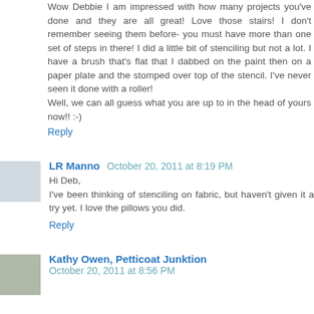Wow Debbie I am impressed with how many projects you've done and they are all great! Love those stairs! I don't remember seeing them before- you must have more than one set of steps in there! I did a little bit of stenciling but not a lot. I have a brush that's flat that I dabbed on the paint then on a paper plate and the stomped over top of the stencil. I've never seen it done with a roller! Well, we can all guess what you are up to in the head of yours now!! :-)
Reply
LR Manno   October 20, 2011 at 8:19 PM
Hi Deb,
I've been thinking of stenciling on fabric, but haven't given it a try yet. I love the pillows you did.
Reply
Kathy Owen, Petticoat Junktion   October 20, 2011 at 8:56 PM